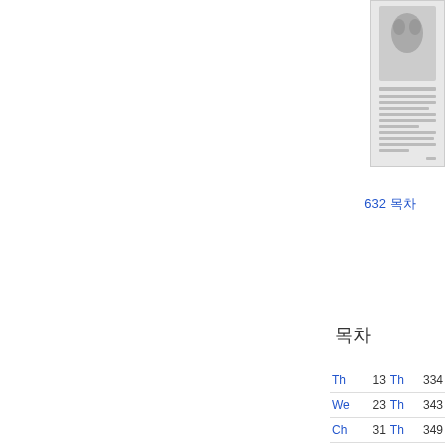[Figure (illustration): Small thumbnail image of a book or document cover with illustration and text]
632 목차
목차
| Entry | Page | Entry | Page |
| --- | --- | --- | --- |
| Th | 13 | Th | 334 |
| We | 23 | Th | 343 |
| Ch | 31 | Th | 349 |
| Th | 52 | 25 | 361 |
| 23 | 86 | Jer | 377 |
| Ho | 87 | pri | 396 |
| Th | 104 | Th | 404 |
| Th | 116 | inh | 411 |
| Th | 145 | Th | 418 |
| Du | 151 | hin | 425 |